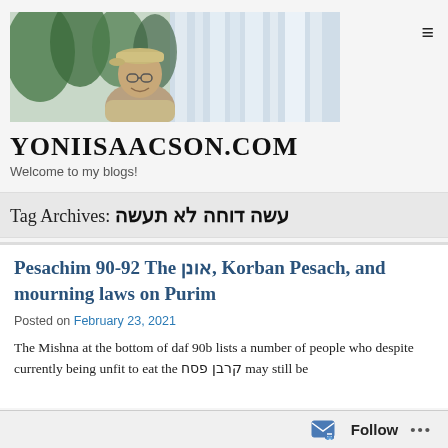[Figure (photo): Photo of a man smiling with a waterfall and trees in the background, wearing a cap and glasses]
YONIISAACSON.COM
Welcome to my blogs!
Tag Archives: עשה דוחה לא תעשה
Pesachim 90-92 The אונן, Korban Pesach, and mourning laws on Purim
Posted on February 23, 2021
The Mishna at the bottom of daf 90b lists a number of people who despite currently being unfit to eat the קרבן פסח may still be